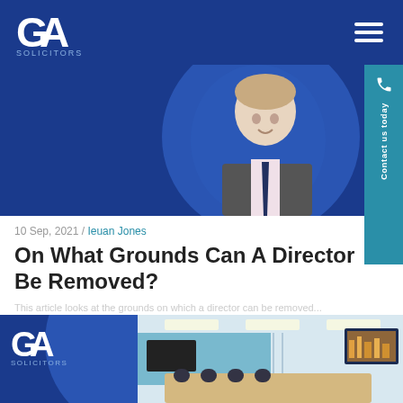[Figure (logo): GA Solicitors logo — white G and A letters with 'SOLICITORS' text below, on dark blue nav bar]
[Figure (photo): Portrait photo of Ieuan Jones, a man in a suit and tie, smiling, set against blue background with circular design element]
[Figure (illustration): Contact us today sidebar button in teal/cyan color with phone icon and rotated text]
10 Sep, 2021 / Ieuan Jones
On What Grounds Can A Director Be Removed?
This article explores the grounds on which a director can be removed
[Figure (photo): GA Solicitors branded image showing a modern boardroom/conference room with long table and chairs, with GA Solicitors logo overlay on blue background]